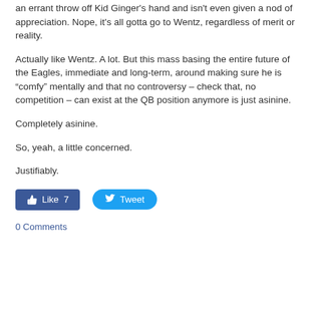an errant throw off Kid Ginger's hand and isn't even given a nod of appreciation. Nope, it's all gotta go to Wentz, regardless of merit or reality.
Actually like Wentz. A lot. But this mass basing the entire future of the Eagles, immediate and long-term, around making sure he is “comfy” mentally and that no controversy – check that, no competition – can exist at the QB position anymore is just asinine.
Completely asinine.
So, yeah, a little concerned.
Justifiably.
[Figure (other): Social sharing buttons: Facebook Like (7) and Tweet button]
0 Comments